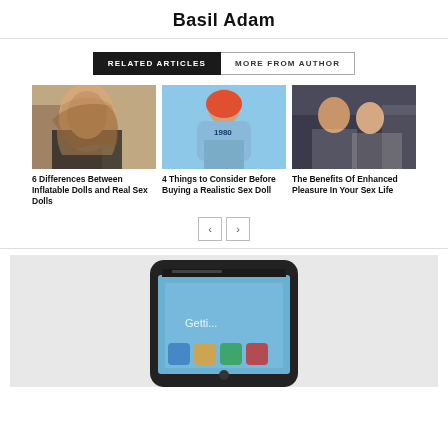Basil Adam
RELATED ARTICLES | MORE FROM AUTHOR
[Figure (photo): Photo of a lifelike doll with long brown hair, pearl necklace, black outfit]
6 Differences Between Inflatable Dolls and Real Sex Dolls
[Figure (photo): Photo of a doll with red/orange hair wearing a light blue bodysuit]
4 Things to Consider Before Buying a Realistic Sex Doll
[Figure (photo): Photo of a man and woman smiling closely together]
The Benefits Of Enhanced Pleasure In Your Sex Life
[Figure (photo): Photo of a smartphone (iPhone) on a light background]